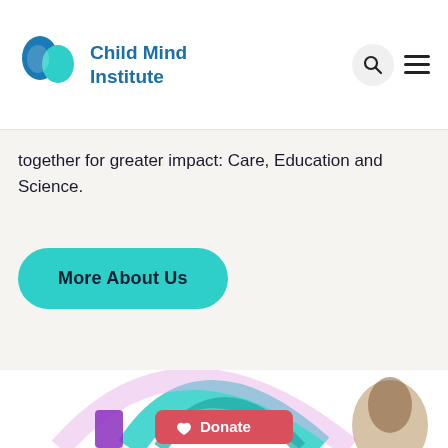Child Mind Institute
together for greater impact: Care, Education and Science.
More About Us
[Figure (illustration): Decorative circular arcs in teal, pink/lavender, and purple colors with a partial photo of a young woman with curly hair, and a red Donate button with heart icon at the bottom of the page.]